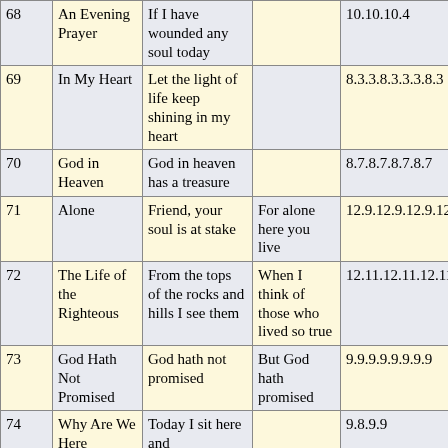| # | Title | First Line | Chorus/Alt | Meter |
| --- | --- | --- | --- | --- |
| 68 | An Evening Prayer | If I have wounded any soul today |  | 10.10.10.4 |
| 69 | In My Heart | Let the light of life keep shining in my heart |  | 8.3.3.8.3.3.3.8.3 |
| 70 | God in Heaven | God in heaven has a treasure |  | 8.7.8.7.8.7.8.7 |
| 71 | Alone | Friend, your soul is at stake | For alone here you live | 12.9.12.9.12.9.12.9 |
| 72 | The Life of the Righteous | From the tops of the rocks and hills I see them | When I think of those who lived so true | 12.11.12.11.12.11.11... |
| 73 | God Hath Not Promised | God hath not promised | But God hath promised | 9.9.9.9.9.9.9.9 |
| 74 | Why Are We Here | Today I sit here... |  | 9.8.9.9 |